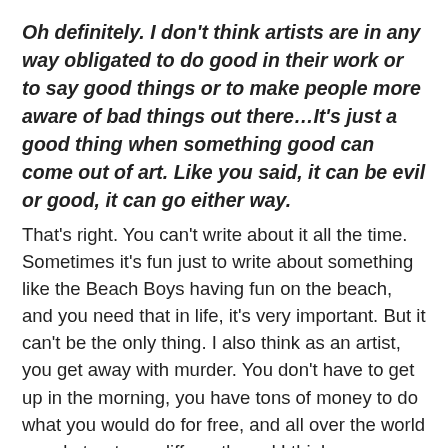Oh definitely. I don't think artists are in any way obligated to do good in their work or to say good things or to make people more aware of bad things out there…It's just a good thing when something good can come out of art. Like you said, it can be evil or good, it can go either way.
That's right. You can't write about it all the time. Sometimes it's fun just to write about something like the Beach Boys having fun on the beach, and you need that in life, it's very important. But it can't be the only thing. I also think as an artist, you get away with murder. You don't have to get up in the morning, you have tons of money to do what you would do for free, and all over the world people treat you differently and I think on occasion you have to give something back. If you can work in the